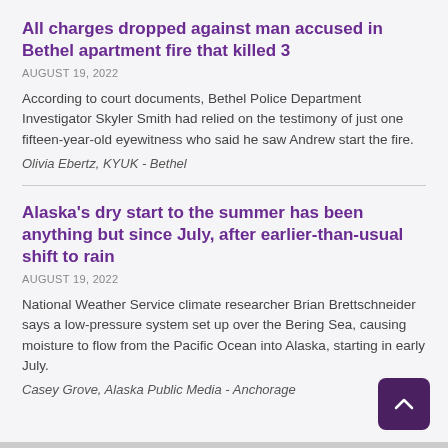All charges dropped against man accused in Bethel apartment fire that killed 3
AUGUST 19, 2022
According to court documents, Bethel Police Department Investigator Skyler Smith had relied on the testimony of just one fifteen-year-old eyewitness who said he saw Andrew start the fire.
Olivia Ebertz, KYUK - Bethel
Alaska’s dry start to the summer has been anything but since July, after earlier-than-usual shift to rain
AUGUST 19, 2022
National Weather Service climate researcher Brian Brettschneider says a low-pressure system set up over the Bering Sea, causing moisture to flow from the Pacific Ocean into Alaska, starting in early July.
Casey Grove, Alaska Public Media - Anchorage